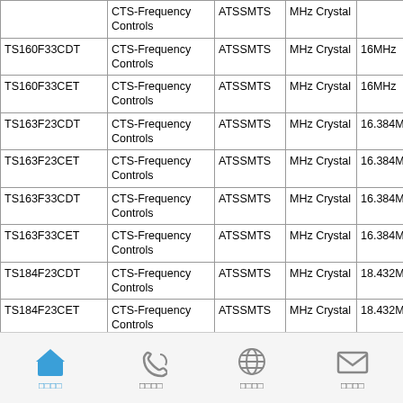| Part Number | Manufacturer | Series | Type | Frequency | Package |
| --- | --- | --- | --- | --- | --- |
|  | CTS-Frequency Controls | ATSSMTS | MHz Crystal |  | HC49/US |
| TS160F33CDT | CTS-Frequency Controls | ATSSMTS | MHz Crystal | 16MHz | HC49/US |
| TS160F33CET | CTS-Frequency Controls | ATSSMTS | MHz Crystal | 16MHz | HC49/US |
| TS163F23CDT | CTS-Frequency Controls | ATSSMTS | MHz Crystal | 16.384MHz | HC49/US |
| TS163F23CET | CTS-Frequency Controls | ATSSMTS | MHz Crystal | 16.384MHz | HC49/US |
| TS163F33CDT | CTS-Frequency Controls | ATSSMTS | MHz Crystal | 16.384MHz | HC49/US |
| TS163F33CET | CTS-Frequency Controls | ATSSMTS | MHz Crystal | 16.384MHz | HC49/US |
| TS184F23CDT | CTS-Frequency Controls | ATSSMTS | MHz Crystal | 18.432MHz | HC49/US |
| TS184F23CET | CTS-Frequency Controls | ATSSMTS | MHz Crystal | 18.432MHz | HC49/US |
□□□□  □□□□  □□□□  □□□□